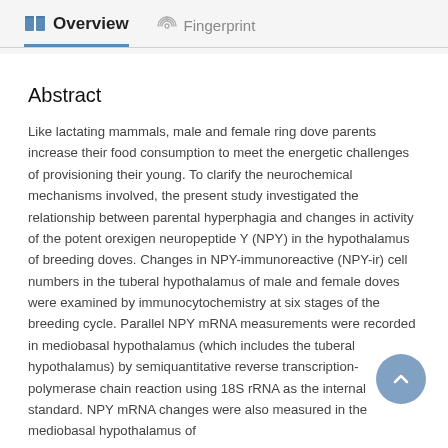Overview   Fingerprint
Abstract
Like lactating mammals, male and female ring dove parents increase their food consumption to meet the energetic challenges of provisioning their young. To clarify the neurochemical mechanisms involved, the present study investigated the relationship between parental hyperphagia and changes in activity of the potent orexigen neuropeptide Y (NPY) in the hypothalamus of breeding doves. Changes in NPY-immunoreactive (NPY-ir) cell numbers in the tuberal hypothalamus of male and female doves were examined by immunocytochemistry at six stages of the breeding cycle. Parallel NPY mRNA measurements were recorded in mediobasal hypothalamus (which includes the tuberal hypothalamus) by semiquantitative reverse transcription-polymerase chain reaction using 18S rRNA as the internal standard. NPY mRNA changes were also measured in the mediobasal hypothalamus of